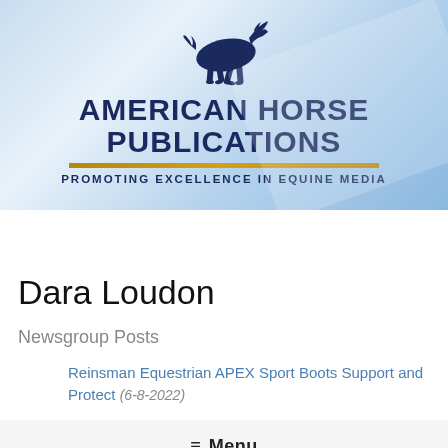[Figure (logo): American Horse Publications logo with running blue horse silhouette, bold navy text 'AMERICAN HORSE PUBLICATIONS', gold horizontal line, and tagline 'PROMOTING EXCELLENCE IN EQUINE MEDIA' on a light blue gradient background]
☰ Menu
Dara Loudon
Newsgroup Posts
Reinsman Equestrian APEX Sport Boots Support and Protect (6-8-2022)